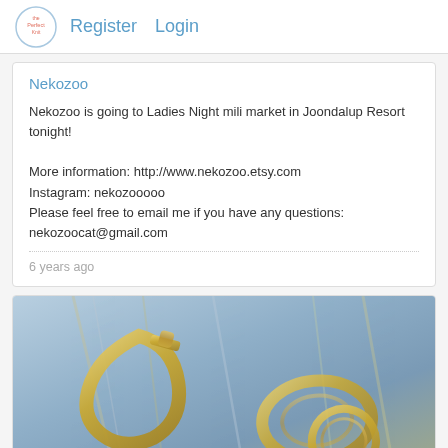Register  Login
Nekozoo
Nekozoo is going to Ladies Night mili market in Joondalup Resort tonight!

More information: http://www.nekozoo.etsy.com
Instagram: nekozooooo
Please feel free to email me if you have any questions: nekozoocat@gmail.com
6 years ago
[Figure (photo): Close-up photo of gold/brass carabiner clips and key rings against a blue and grey bokeh background]